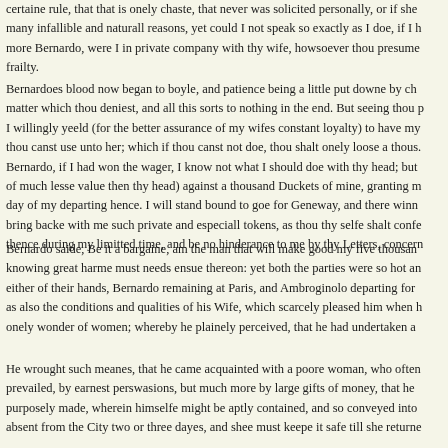certaine rule, that that is onely chaste, that never was solicited personally, or if she many infallible and naturall reasons, yet could I not speak so exactly as I doe, if I h more Bernardo, were I in private company with thy wife, howsoever thou presume frailty.
Bernardoes blood now began to boyle, and patience being a little put downe by ch matter which thou deniest, and all this sorts to nothing in the end. But seeing thou p I willingly yeeld (for the better assurance of my wifes constant loyalty) to have my thou canst use unto her; which if thou canst not doe, thou shalt onely loose a thous. Bernardo, if I had won the wager, I know not what I should doe with thy head; but of much lesse value then thy head) against a thousand Duckets of mine, granting m day of my departing hence. I will stand bound to goe for Geneway, and there winn bring backe with me such private and especiall tokens, as thou thy selfe shalt confe thence during my limitted time, and be no hinderance to me by thy Letters, concern
Bernardo saide, Be it a bargaine, am the man that will make good my five thousan knowing great harme must needs ensue thereon: yet both the parties were so hot an either of their hands, Bernardo remaining at Paris, and Ambroginolo departing for as also the conditions and qualities of his Wife, which scarcely pleased him when h onely wonder of women; whereby he plainely perceived, that he had undertaken a
He wrought such meanes, that he came acquainted with a poore woman, who often prevailed, by earnest perswasions, but much more by large gifts of money, that he purposely made, wherein himselfe might be aptly contained, and so conveyed into absent from the City two or three dayes, and shee must keepe it safe till she returne